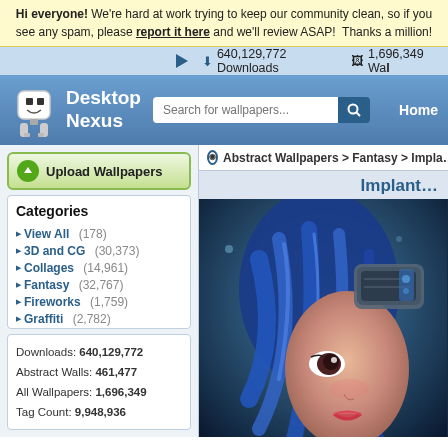Hi everyone! We're hard at work trying to keep our community clean, so if you see any spam, please report it here and we'll review ASAP!  Thanks a million!
↓ 640,129,772 Downloads   1,696,349 Wal...
[Figure (screenshot): Desktop Nexus logo with robot mascot, search bar, and Home navigation button on blue gradient header]
Upload Wallpapers
Abstract Wallplayers > Fantasy > Impla...
Categories
View All (178)
3D and CG (30,373)
Collages (14,961)
Fantasy (32,767)
Fireworks (1,759)
Graffiti (2,782)
Mind Teasers (4,803)
Photography (32,767)
Textures (31,128)
Other (32,767)
Downloads: 640,129,772
Abstract Walls: 461,477
All Wallpapers: 1,696,349
Tag Count: 9,948,936
Implant...
[Figure (illustration): Fantasy illustration of anime-style girl with blue hair and futuristic headgear]